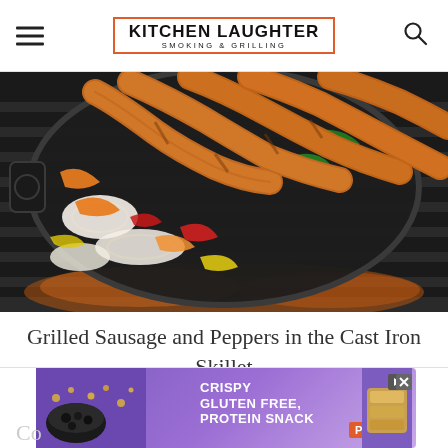KITCHEN LAUGHTER SMOKING & GRILLING
[Figure (photo): Cast iron skillet on a grill with sausage links, sliced bell peppers (orange, red, green), and onions cooking over open flame grill grates]
Grilled Sausage and Peppers in the Cast Iron Skillet
[Figure (other): Advertisement banner: CRISPY GLUTEN FREE, PROTEIN SNACK - brand advertisement with purple background, food imagery, and Clif Kid Zbar Protein branding]